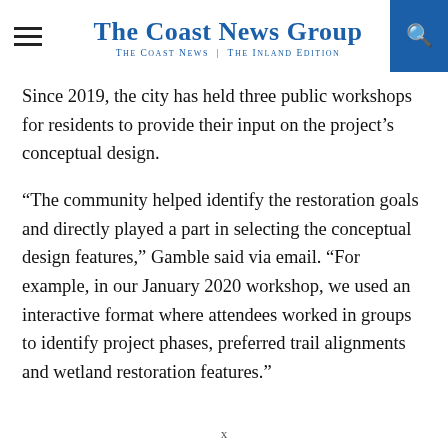The Coast News Group — The Coast News | The Inland Edition
Since 2019, the city has held three public workshops for residents to provide their input on the project’s conceptual design.
“The community helped identify the restoration goals and directly played a part in selecting the conceptual design features,” Gamble said via email. “For example, in our January 2020 workshop, we used an interactive format where attendees worked in groups to identify project phases, preferred trail alignments and wetland restoration features.”